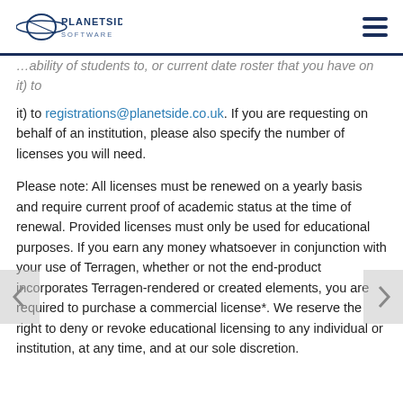Planetside Software
…(ability of students to, or current date roster that you have on it) to registrations@planetside.co.uk. If you are requesting on behalf of an institution, please also specify the number of licenses you will need.
Please note: All licenses must be renewed on a yearly basis and require current proof of academic status at the time of renewal. Provided licenses must only be used for educational purposes. If you earn any money whatsoever in conjunction with your use of Terragen, whether or not the end-product incorporates Terragen-rendered or created elements, you are required to purchase a commercial license*. We reserve the right to deny or revoke educational licensing to any individual or institution, at any time, and at our sole discretion.